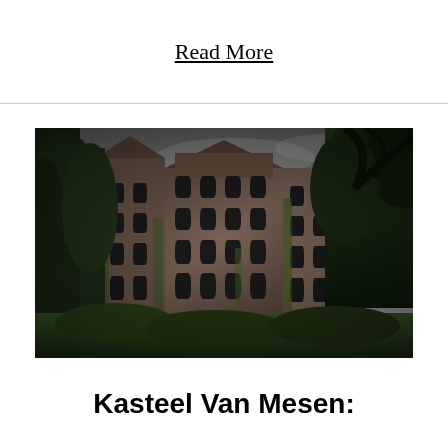Read More
[Figure (photo): Black and white photograph of Kasteel Van Mesen, a large Gothic-style brick castle building surrounded by dense green trees and foliage, photographed from a low angle against an overcast sky.]
Kasteel Van Mesen: